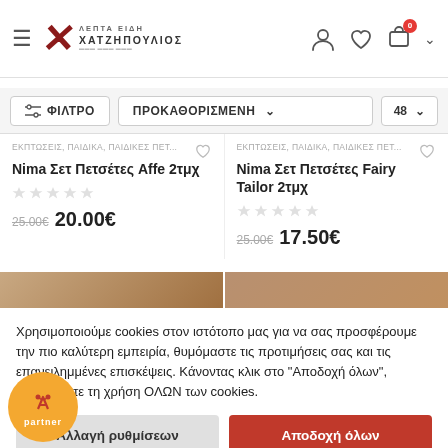Χατζηπούλιος - Λεπτά Είδη
ΦΙΛΤΡΟ | ΠΡΟΚΑΘΟΡΙΣΜΕΝΗ | 48
ΕΚΠΤΩΣΕΙΣ, ΠΑΙΔΙΚΑ, ΠΑΙΔΙΚΕΣ ΠΕΤ...
Nima Σετ Πετσέτες Affe 2τμχ
25.00€ 20.00€
ΕΚΠΤΩΣΕΙΣ, ΠΑΙΔΙΚΑ, ΠΑΙΔΙΚΕΣ ΠΕΤ...
Nima Σετ Πετσέτες Fairy Tailor 2τμχ
25.00€ 17.50€
Χρησιμοποιούμε cookies στον ιστότοπο μας για να σας προσφέρουμε την πιο καλύτερη εμπειρία, θυμόμαστε τις προτιμήσεις σας και τις επανειλημμένες επισκέψεις. Κάνοντας κλικ στο "Αποδοχή όλων", αποδέχεστε τη χρήση ΟΛΩΝ των cookies.
Αλλαγή ρυθμίσεων | Αποδοχή όλων